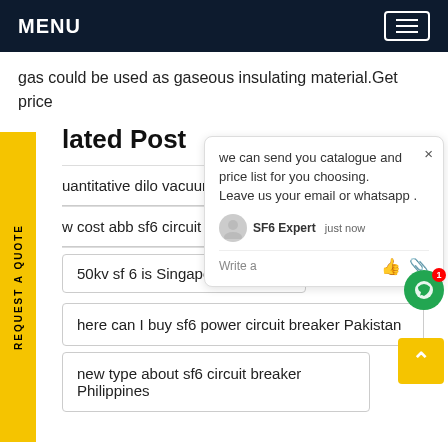MENU
gas could be used as gaseous insulating material.Get price
lated Post
uantitative dilo vacuum pump Libya
w cost abb sf6 circuit breaker spares
50kv sf 6 is Singapore
here can I buy sf6 power circuit breaker Pakistan
new type about sf6 circuit breaker Philippines
we can send you catalogue and price list for you choosing.
Leave us your email or whatsapp .
SF6 Expert   just now
Write a